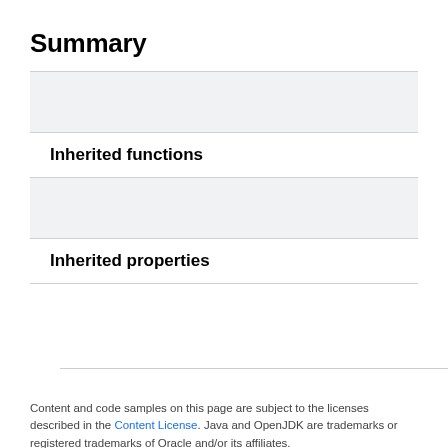Summary
|  |
| Inherited functions |
|  |
| Inherited properties |
|  |
Content and code samples on this page are subject to the licenses described in the Content License. Java and OpenJDK are trademarks or registered trademarks of Oracle and/or its affiliates.